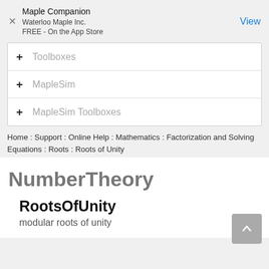Maple Companion
Waterloo Maple Inc.
FREE - On the App Store | View
+ Toolboxes
+ MapleSim
+ MapleSim Toolboxes
Home : Support : Online Help : Mathematics : Factorization and Solving Equations : Roots : Roots of Unity
NumberTheory
RootsOfUnity
modular roots of unity